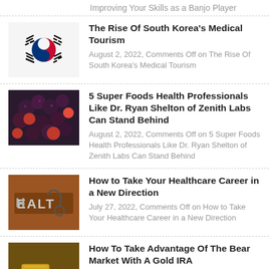Improving Your Skills as a Banjo Player
The Rise Of South Korea's Medical Tourism — August 2, 2022, Comments Off on The Rise Of South Korea's Medical Tourism
5 Super Foods Health Professionals Like Dr. Ryan Shelton of Zenith Labs Can Stand Behind — August 2, 2022, Comments Off on 5 Super Foods Health Professionals Like Dr. Ryan Shelton of Zenith Labs Can Stand Behind
How to Take Your Healthcare Career in a New Direction — July 27, 2022, Comments Off on How to Take Your Healthcare Career in a New Direction
How To Take Advantage Of The Bear Market With A Gold IRA — July 20, 2022, Comments Off on How To Take Advantage Of The Bear Market With A Gold IRA
How to Inspire Productivity in a Small-Scale Company